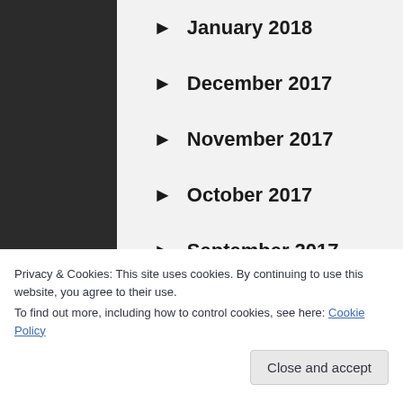January 2018
December 2017
November 2017
October 2017
September 2017
Privacy & Cookies: This site uses cookies. By continuing to use this website, you agree to their use.
To find out more, including how to control cookies, see here: Cookie Policy
Close and accept